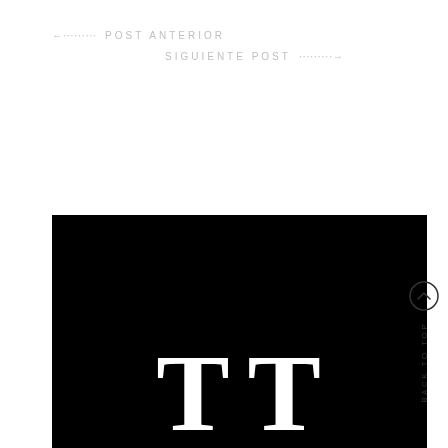← .......... POST ANTERIOR
SIGUIENTE POST .......... →
[Figure (illustration): Black background with two large white serif letter T characters (TT) displayed in bold, partially cropped at the bottom]
BACK TO TOP